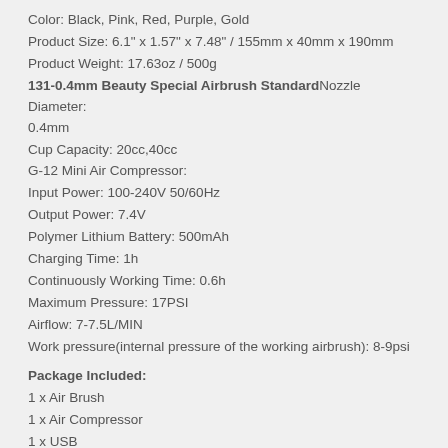Color: Black, Pink, Red, Purple, Gold
Product Size: 6.1" x 1.57" x 7.48" / 155mm x 40mm x 190mm
Product Weight: 17.63oz / 500g
131-0.4mm Beauty Special Airbrush Standard Nozzle Diameter: 0.4mm
Cup Capacity: 20cc,40cc
G-12 Mini Air Compressor:
Input Power: 100-240V 50/60Hz
Output Power: 7.4V
Polymer Lithium Battery: 500mAh
Charging Time: 1h
Continuously Working Time: 0.6h
Maximum Pressure: 17PSI
Airflow: 7-7.5L/MIN
Work pressure(internal pressure of the working airbrush): 8-9psi
Package Included:
1 x Air Brush
1 x Air Compressor
1 x USB